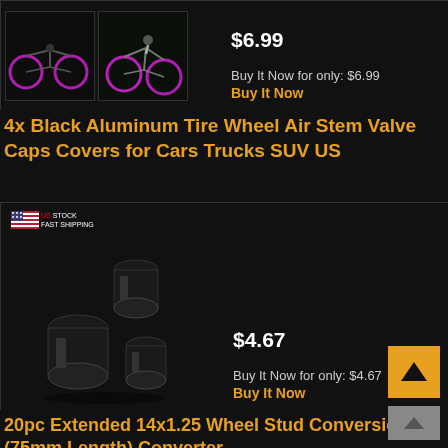[Figure (photo): Two thumbnail images of bikes with glowing pink/purple wheel lights]
$6.99
Buy It Now for only: $6.99
Buy It Now
4x Black Aluminum Tire Wheel Air Stem Valve Caps Covers for Cars Trucks SUV US
[Figure (photo): Four black aluminum tire valve stem caps on white/grey background with US Stock Fast Shipping badge]
$4.67
Buy It Now for only: $4.67
Buy It Now
20pc Extended 14x1.25 Wheel Stud Conversion (75mm Length) Converter